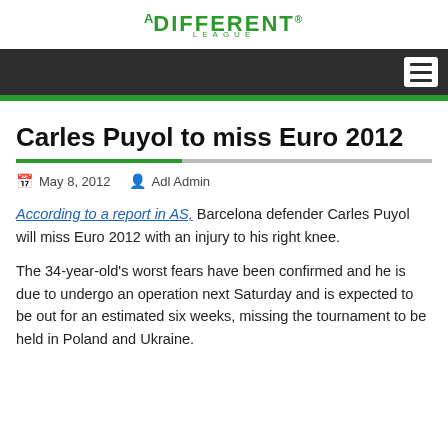A DIFFERENT LEAGUE
Carles Puyol to miss Euro 2012
May 8, 2012   Adl Admin
According to a report in AS, Barcelona defender Carles Puyol will miss Euro 2012 with an injury to his right knee.
The 34-year-old’s worst fears have been confirmed and he is due to undergo an operation next Saturday and is expected to be out for an estimated six weeks, missing the tournament to be held in Poland and Ukraine.